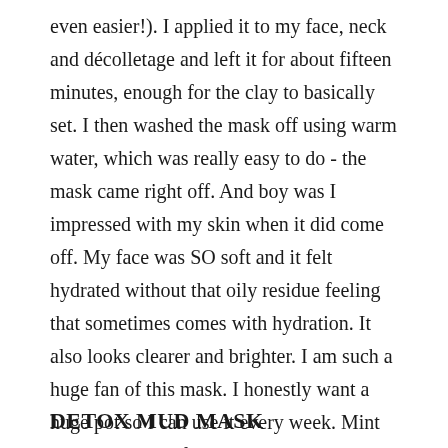even easier!). I applied it to my face, neck and décolletage and left it for about fifteen minutes, enough for the clay to basically set. I then washed the mask off using warm water, which was really easy to do - the mask came right off. And boy was I impressed with my skin when it did come off. My face was SO soft and it felt hydrated without that oily residue feeling that sometimes comes with hydration. It also looks clearer and brighter. I am such a huge fan of this mask. I honestly want a huge pot so I can use it every week. Mint Skin - you guys freakin nailed this one.
DETOX MUD MASK